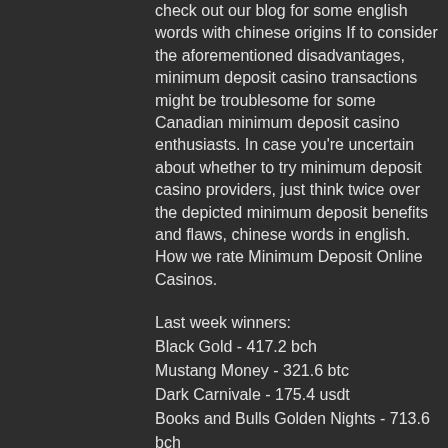check out our blog for some english words with chinese origins If to consider the aforementioned disadvantages, minimum deposit casino transactions might be troublesome for some Canadian minimum deposit casino enthusiasts. In case you're uncertain about whether to try minimum deposit casino providers, just think twice over the depicted minimum deposit benefits and flaws, chinese words in english. How we rate Minimum Deposit Online Casinos.
Last week winners:
Black Gold - 417.2 bch
Mustang Money - 321.6 btc
Dark Carnivale - 175.4 usdt
Books and Bulls Golden Nights - 713.6 bch
Cheerful Farmer - 134.9 usdt
Flux - 4.9 dog
Beetle Star - 697 btc
Double Diamond - 370.3 bch